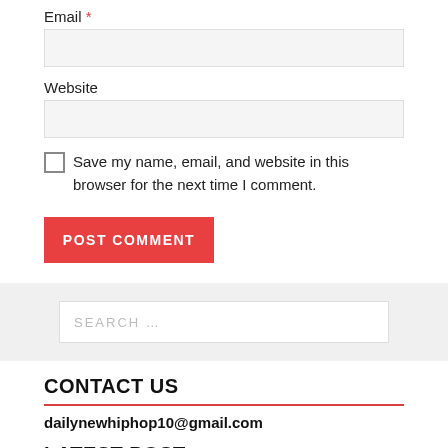Email *
Website
Save my name, email, and website in this browser for the next time I comment.
POST COMMENT
SEARCH ...
CONTACT US
dailynewhiphop10@gmail.com
LATEST POST